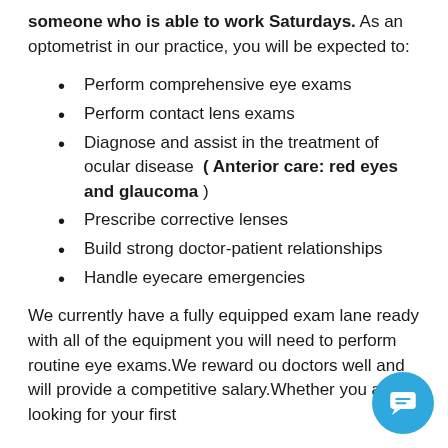someone who is able to work Saturdays. As an optometrist in our practice, you will be expected to:
Perform comprehensive eye exams
Perform contact lens exams
Diagnose and assist in the treatment of ocular disease  ( Anterior care: red eyes and glaucoma )
Prescribe corrective lenses
Build strong doctor-patient relationships
Handle eyecare emergencies
We currently have a fully equipped exam lane ready with all of the equipment you will need to perform routine eye exams.We reward our doctors well and will provide a competitive salary.Whether you are looking for your first